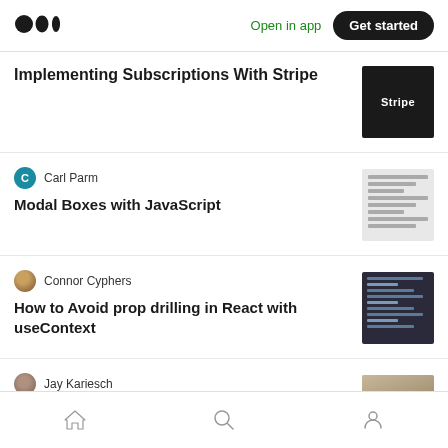Medium — Open in app | Get started
Implementing Subscriptions With Stripe
Carl Parm — Modal Boxes with JavaScript
Connor Cyphers — How to Avoid prop drilling in React with useContext
Jay Kariesch — Idiomatic React Web Workers: Migrating off the main-thread.
Home | Search | Profile